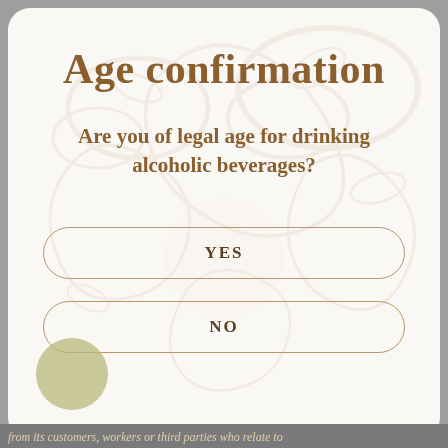Age confirmation
Are you of legal age for drinking alcoholic beverages?
YES
NO
from its customers, workers or third parties who relate to